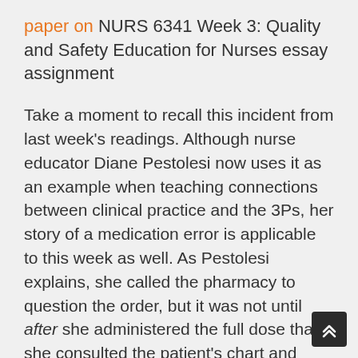paper on NURS 6341 Week 3: Quality and Safety Education for Nurses essay assignment
Take a moment to recall this incident from last week's readings. Although nurse educator Diane Pestolesi now uses it as an example when teaching connections between clinical practice and the 3Ps, her story of a medication error is applicable to this week as well. As Pestolesi explains, she called the pharmacy to question the order, but it was not until after she administered the full dose that she consulted the patient's chart and found directions reading one vial, not three.
Though Pestolesi's story depicted how to